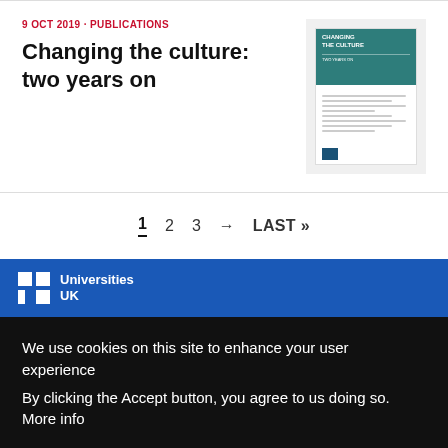9 OCT 2019 · PUBLICATIONS
Changing the culture: two years on
[Figure (illustration): Thumbnail of publication cover for 'Changing the Culture' with teal header and white body]
1  2  3  →  LAST »
[Figure (logo): Universities UK logo in white on blue background]
We use cookies on this site to enhance your user experience
By clicking the Accept button, you agree to us doing so. More info
Accept   No, thanks